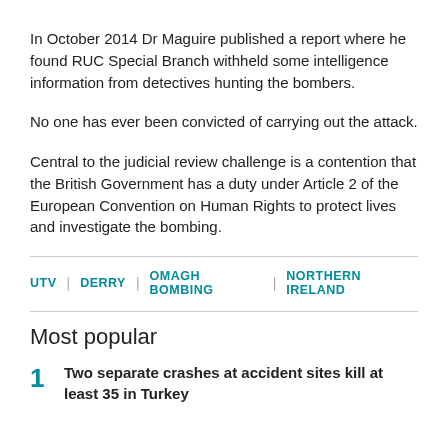In October 2014 Dr Maguire published a report where he found RUC Special Branch withheld some intelligence information from detectives hunting the bombers.
No one has ever been convicted of carrying out the attack.
Central to the judicial review challenge is a contention that the British Government has a duty under Article 2 of the European Convention on Human Rights to protect lives and investigate the bombing.
UTV | DERRY | OMAGH BOMBING | NORTHERN IRELAND
Most popular
1 Two separate crashes at accident sites kill at least 35 in Turkey